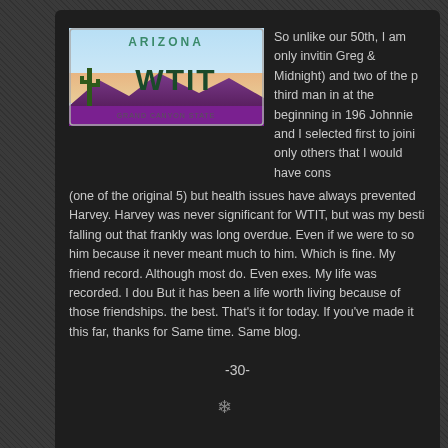[Figure (photo): Arizona license plate reading WTIT, Grand Canyon State]
So unlike our 50th, I am only invitin Greg & Midnight) and two of the p third man in at the beginning in 196 Johnnie and I selected first to joini only others that I would have cons (one of the original 5) but health issues have always prevented Harvey. Harvey was never significant for WTIT, but was my besti falling out that frankly was long overdue. Even if we were to so him because it never meant much to him. Which is fine. My friend record. Although most do. Even exes. My life was recorded. I dou But it has been a life worth living because of those friendships. the best. That's it for today. If you've made it this far, thanks for Same time. Same blog.
-30-